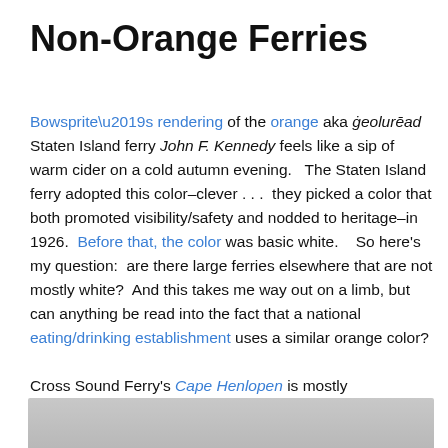Non-Orange Ferries
Bowsprite’s rendering of the orange aka ġeolurēad Staten Island ferry John F. Kennedy feels like a sip of warm cider on a cold autumn evening.   The Staten Island ferry adopted this color–clever . . .  they picked a color that both promoted visibility/safety and nodded to heritage–in 1926.  Before that, the color was basic white.    So here’s my question:  are there large ferries elsewhere that are not mostly white?  And this takes me way out on a limb, but can anything be read into the fact that a national eating/drinking establishment uses a similar orange color?
Cross Sound Ferry’s Cape Henlopen is mostly
[Figure (photo): Bottom strip of a grey/silver photograph, partially visible at bottom of page]